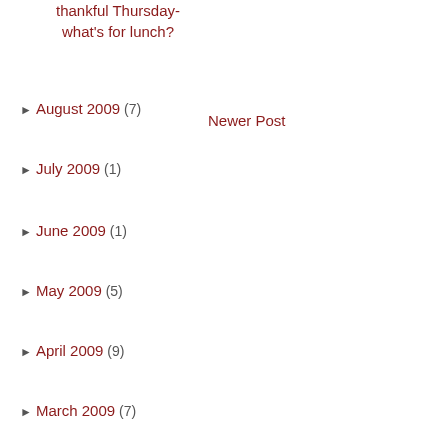thankful Thursday- what's for lunch?
► August 2009 (7)
Newer Post
► July 2009 (1)
► June 2009 (1)
► May 2009 (5)
► April 2009 (9)
► March 2009 (7)
► February 2009 (6)
► January 2009 (10)
► 2008 (118)
► 2007 (106)
► 2006 (40)
► 2005 (17)